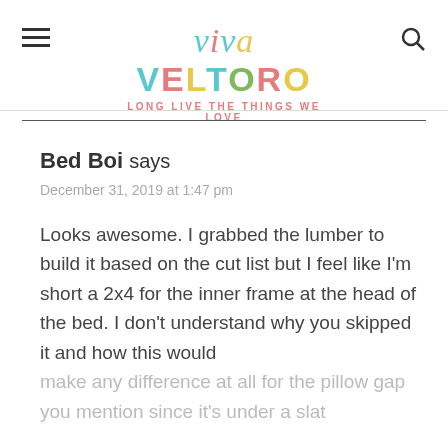viva VELTORO – LONG LIVE THE THINGS WE LOVE
Bed Boi says
December 31, 2019 at 1:47 pm
Looks awesome. I grabbed the lumber to build it based on the cut list but I feel like I'm short a 2x4 for the inner frame at the head of the bed. I don't understand why you skipped it and how this would make any difference at all for the pillow gap you mention since it's under a slat